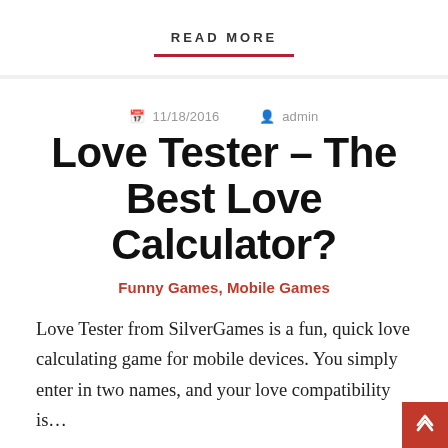READ MORE
11/18/2016   admin
Love Tester – The Best Love Calculator?
Funny Games, Mobile Games
Love Tester from SilverGames is a fun, quick love calculating game for mobile devices. You simply enter in two names, and your love compatibility is…